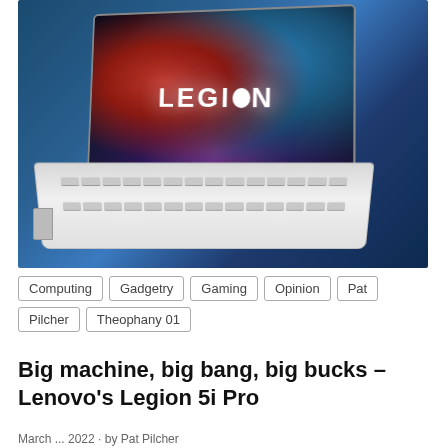[Figure (photo): Lenovo Legion 5i Pro laptop in white color with LEGION branding displayed on screen, shown at an angle against a blue background]
Computing
Gadgetry
Gaming
Opinion
Pat Pilcher
Theophany 01
Big machine, big bang, big bucks – Lenovo's Legion 5i Pro
March ... 2022 · by Pat Pilcher